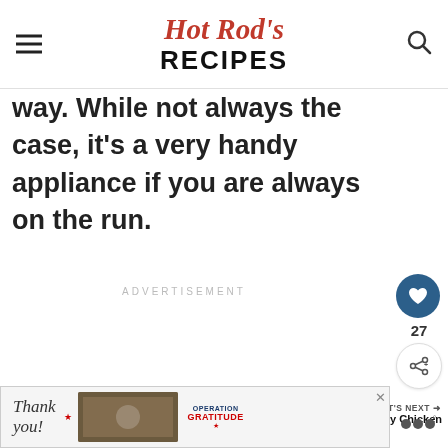Hot Rod's RECIPES
way. While not always the case, it's a very handy appliance if you are always on the run.
ADVERTISEMENT
[Figure (other): Like/heart button with count 27 and share button]
[Figure (other): WHAT'S NEXT arrow - Spicy Chicken Chili thumbnail and label]
[Figure (other): Bottom advertisement banner - Thank you Operation Gratitude]